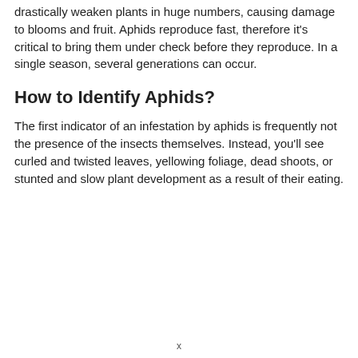drastically weaken plants in huge numbers, causing damage to blooms and fruit. Aphids reproduce fast, therefore it's critical to bring them under check before they reproduce. In a single season, several generations can occur.
How to Identify Aphids?
The first indicator of an infestation by aphids is frequently not the presence of the insects themselves. Instead, you'll see curled and twisted leaves, yellowing foliage, dead shoots, or stunted and slow plant development as a result of their eating.
x